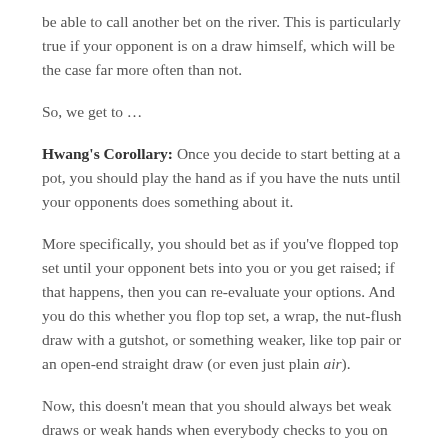be able to call another bet on the river. This is particularly true if your opponent is on a draw himself, which will be the case far more often than not.
So, we get to …
Hwang's Corollary: Once you decide to start betting at a pot, you should play the hand as if you have the nuts until your opponents does something about it.
More specifically, you should bet as if you've flopped top set until your opponent bets into you or you get raised; if that happens, then you can re-evaluate your options. And you do this whether you flop top set, a wrap, the nut-flush draw with a gutshot, or something weaker, like top pair or an open-end straight draw (or even just plain air).
Now, this doesn't mean that you should always bet weak draws or weak hands when everybody checks to you on the button; it simply means that when you do choose to